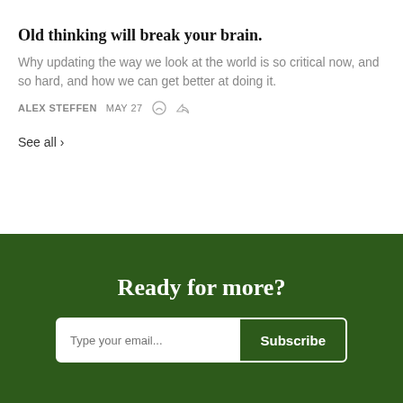Old thinking will break your brain.
Why updating the way we look at the world is so critical now, and so hard, and how we can get better at doing it.
ALEX STEFFEN   MAY 27
See all ›
Ready for more?
Type your email...   Subscribe